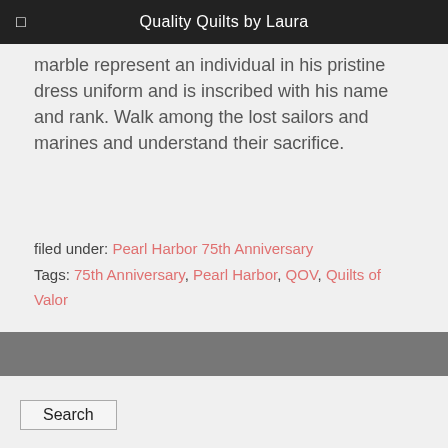Quality Quilts by Laura
marble represent an individual in his pristine dress uniform and is inscribed with his name and rank. Walk among the lost sailors and marines and understand their sacrifice.
filed under: Pearl Harbor 75th Anniversary
Tags: 75th Anniversary, Pearl Harbor, QOV, Quilts of Valor